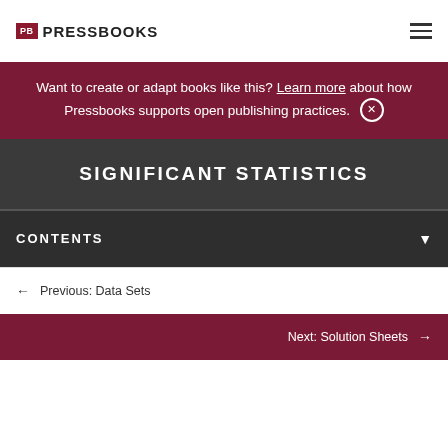PB PRESSBOOKS
Want to create or adapt books like this? Learn more about how Pressbooks supports open publishing practices.
SIGNIFICANT STATISTICS
CONTENTS
← Previous: Data Sets
Next: Solution Sheets →